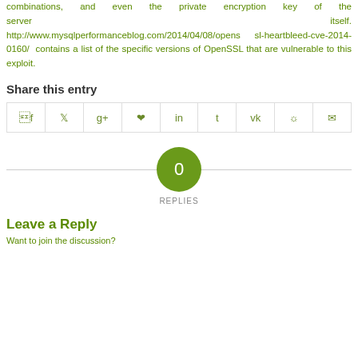combinations, and even the private encryption key of the server itself. http://www.mysqlperformanceblog.com/2014/04/08/openssl-heartbleed-cve-2014-0160/ contains a list of the specific versions of OpenSSL that are vulnerable to this exploit.
Share this entry
[Figure (infographic): Social sharing icons row: Facebook, Twitter, Google+, Pinterest, LinkedIn, Tumblr, VK, Reddit, Email]
[Figure (infographic): Circle with '0' and 'REPLIES' label below, on a horizontal line]
Leave a Reply
Want to join the discussion?